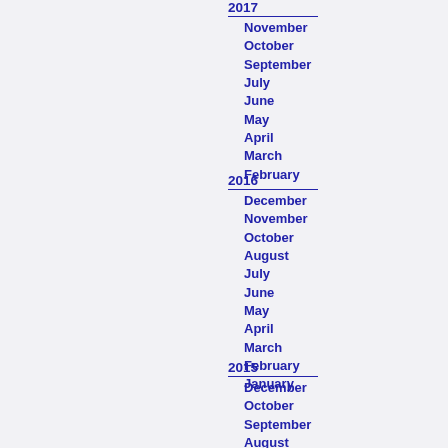2017
November
October
September
July
June
May
April
March
February
2016
December
November
October
August
July
June
May
April
March
February
January
2015
December
October
September
August
July
June
May
April
March
February
January